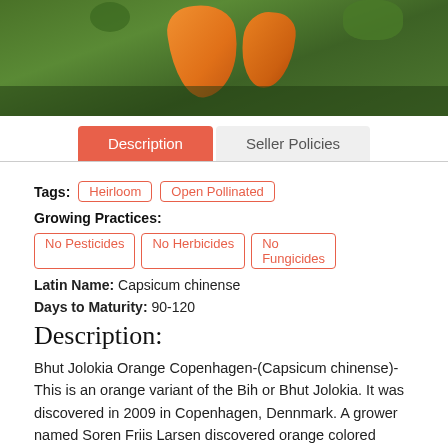[Figure (photo): Photo of orange Bhut Jolokia peppers on a plant with green foliage in the background]
Description | Seller Policies (tab bar)
Tags: Heirloom, Open Pollinated
Growing Practices: No Pesticides, No Herbicides, No Fungicides
Latin Name: Capsicum chinense
Days to Maturity: 90-120
Description:
Bhut Jolokia Orange Copenhagen-(Capsicum chinense)-This is an orange variant of the Bih or Bhut Jolokia. It was discovered in 2009 in Copenhagen, Dennmark. A grower named Soren Friis Larsen discovered orange colored peppers on his plant and grew it out for sucessive years. Him and his good friend Bjarne Hojlund then introduced to other growers. The fruits of the Bhut Orange Copenhagen are usually shorter than average Bhut Jolokias. They